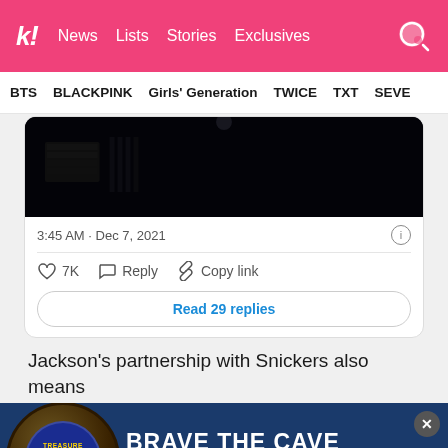k! News  Lists  Stories  Exclusives
BTS  BLACKPINK  Girls' Generation  TWICE  TXT  SEVE
[Figure (screenshot): Dark screenshot embedded in a tweet card showing a dimly lit scene]
3:45 AM · Dec 7, 2021
♡ 7K   Reply   Copy link
Read 29 replies
Jackson's partnership with Snickers also means
[Figure (photo): Advertisement banner for Treasure Cave Crumbled Blue Cheese with text BRAVE THE CAVE and BUY NOW button on dark blue background]